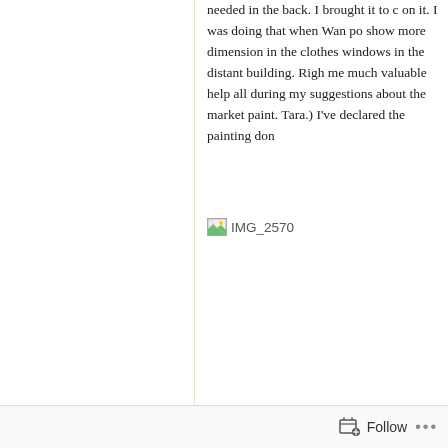needed in the back. I brought it to c on it. I was doing that when Wan po show more dimension in the clothes windows in the distant building. Righ me much valuable help all during my suggestions about the market paint. Tara.) I've declared the painting don
[Figure (photo): Broken/missing image placeholder labeled IMG_2570]
Follow ...